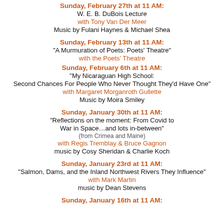Sunday, February 27th at 11 AM:
W. E. B. DuBois Lecture
with Tony Van Der Meer
Music by Fulani Haynes & Michael Shea
Sunday, February 13th at 11 AM:
“A Murmuration of Poets: Poets’ Theatre”
with the Poets’ Theatre
Sunday, February 6th at 11 AM:
“My Nicaraguan High School:
Second Chances For People Who Never Thought They’d Have One”
with Margaret Morganroth Gullette
Music by Moira Smiley
Sunday, January 30th at 11 AM:
“Reflections on the moment: From Covid to War in Space…and lots in-between”
(from Crimea and Maine)
with Regis Tremblay & Bruce Gagnon
music by Cosy Sheridan & Charlie Koch
Sunday, January 23rd at 11 AM:
“Salmon, Dams, and the Inland Northwest Rivers They Influence”
with Mark Martin
music by Dean Stevens
Sunday, January 16th at 11 AM: